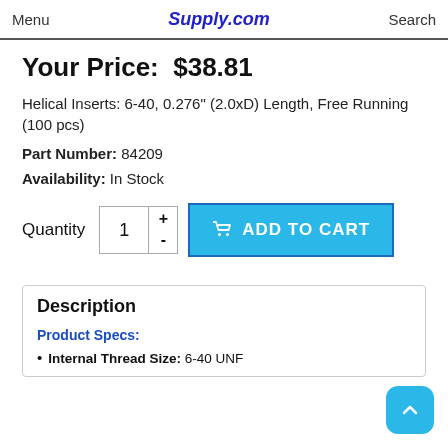Menu  Supply.com  Search
Your Price:  $38.81
Helical Inserts: 6-40, 0.276" (2.0xD) Length, Free Running (100 pcs)
Part Number: 84209
Availability: In Stock
Quantity  1  +  -  ADD TO CART
Description
Product Specs:
Internal Thread Size: 6-40 UNF